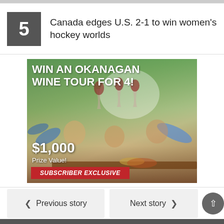5  Canada edges U.S. 2-1 to win women's hockey worlds
[Figure (photo): Advertisement banner: WIN AN OKANAGAN WINE TOUR FOR 4! $1,000 Prize Value! SUBSCRIBER EXCLUSIVE — showing group of people toasting with wine glasses outdoors in a vineyard setting]
< Previous story    Next story >